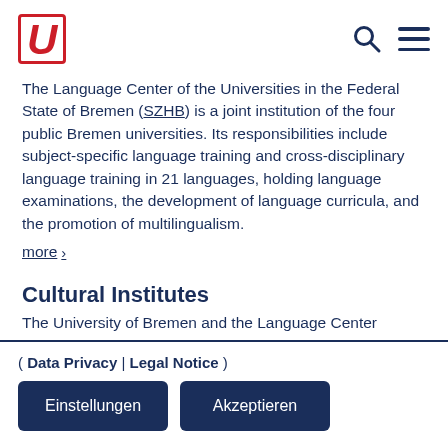U [logo] | search icon | menu icon
The Language Center of the Universities in the Federal State of Bremen (SZHB) is a joint institution of the four public Bremen universities. Its responsibilities include subject-specific language training and cross-disciplinary language training in 21 languages, holding language examinations, the development of language curricula, and the promotion of multilingualism.
more >
Cultural Institutes
The University of Bremen and the Language Center
( Data Privacy | Legal Notice )
Einstellungen   Akzeptieren